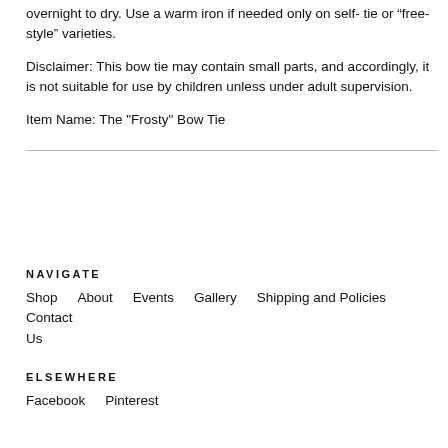overnight to dry. Use a warm iron if needed only on self- tie or “free-style” varieties.
Disclaimer: This bow tie may contain small parts, and accordingly, it is not suitable for use by children unless under adult supervision.
Item Name: The "Frosty" Bow Tie
NAVIGATE
Shop   About   Events   Gallery   Shipping and Policies   Contact Us
ELSEWHERE
Facebook   Pinterest